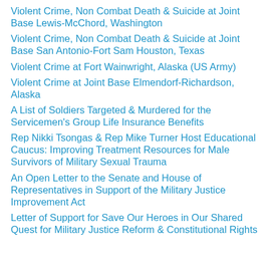Violent Crime, Non Combat Death & Suicide at Joint Base Lewis-McChord, Washington
Violent Crime, Non Combat Death & Suicide at Joint Base San Antonio-Fort Sam Houston, Texas
Violent Crime at Fort Wainwright, Alaska (US Army)
Violent Crime at Joint Base Elmendorf-Richardson, Alaska
A List of Soldiers Targeted & Murdered for the Servicemen's Group Life Insurance Benefits
Rep Nikki Tsongas & Rep Mike Turner Host Educational Caucus: Improving Treatment Resources for Male Survivors of Military Sexual Trauma
An Open Letter to the Senate and House of Representatives in Support of the Military Justice Improvement Act
Letter of Support for Save Our Heroes in Our Shared Quest for Military Justice Reform & Constitutional Rights